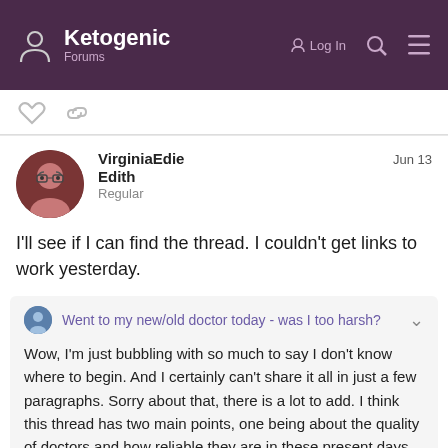Ketogenic Forums
[Figure (screenshot): Heart/like icon and chain link icon action buttons]
VirginiaEdie
Edith
Regular
Jun 13
I'll see if I can find the thread. I couldn't get links to work yesterday.
Went to my new/old doctor today - was I too harsh?
Wow, I'm just bubbling with so much to say I don't know where to begin. And I certainly can't share it all in just a few paragraphs. Sorry about that, there is a lot to add. I think this thread has two main points, one being about the quality of doctors and how reliable they are in these present days, and one being about the necessity and valu... and avenues to obtain those tests. My bubb... related to the first point. Lol First I'd like...